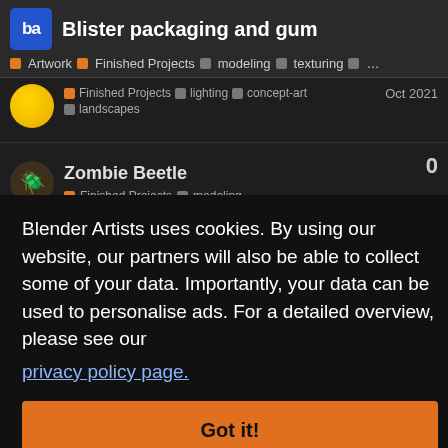Blister packaging and gum — Artwork | Finished Projects | modeling | texturing | ...
Finished Projects | lighting | concept-art | landscapes — Oct 2021
Zombie Beetle
Finished Projects | modeling — Oct 2021 — 0
2 — Nov 2021
5 — Apr 16
0 — Jun 8
Blender Artists uses cookies. By using our website, our partners will also be able to collect some of your data. Importantly, your data can be used to personalise ads. For a detailed overview, please see our privacy policy page.
Got it!